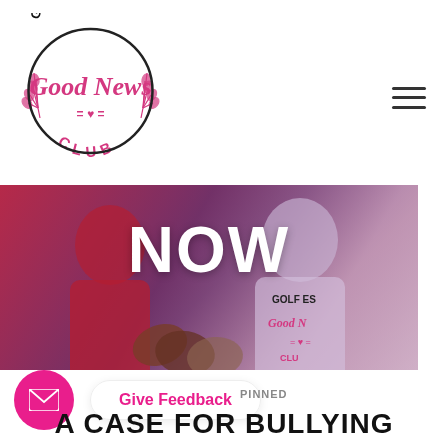[Figure (logo): Golf Estate Good News Club circular logo in pink and black]
[Figure (photo): Hero image showing people wearing Golf Estate Good News Club shirts with large NOW text overlay]
Give Feedback
PINNED
A CASE FOR BULLYING